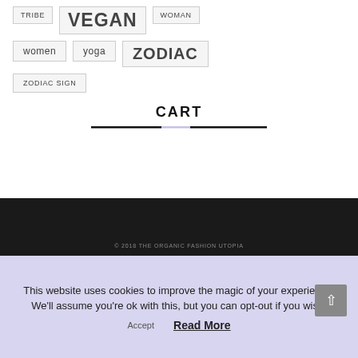TRIBE
VEGAN
WOMAN
women
yoga
ZODIAC
ZODIAC SIGN
CART
© 2018 THE ORGANIC FASHION UTOPIA
This website uses cookies to improve the magic of your experience. We'll assume you're ok with this, but you can opt-out if you wish.
Accept
Read More